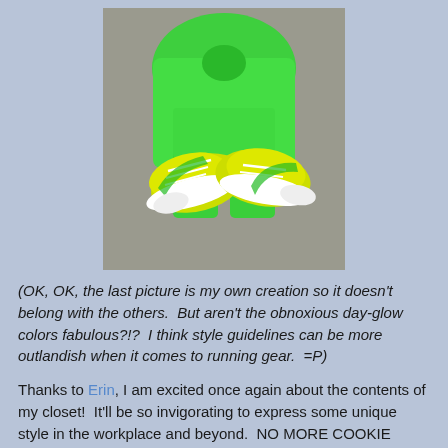[Figure (photo): Photo of neon green running clothes (shirt and pants/leggings) laid flat on a gray surface, with a pair of yellow-green running shoes placed on top of the clothing.]
(OK, OK, the last picture is my own creation so it doesn't belong with the others.  But aren't the obnoxious day-glow colors fabulous?!?  I think style guidelines can be more outlandish when it comes to running gear.  =P)
Thanks to Erin, I am excited once again about the contents of my closet!  It'll be so invigorating to express some unique style in the workplace and beyond.  NO MORE COOKIE